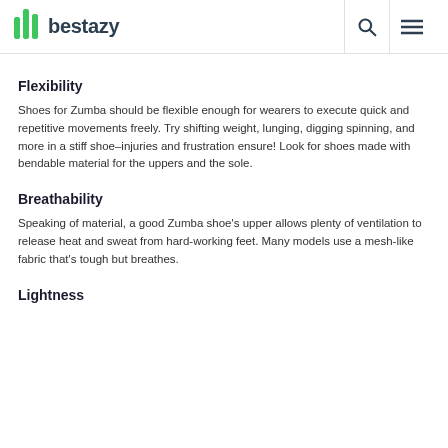bestazy
Flexibility
Shoes for Zumba should be flexible enough for wearers to execute quick and repetitive movements freely. Try shifting weight, lunging, digging spinning, and more in a stiff shoe–injuries and frustration ensure! Look for shoes made with bendable material for the uppers and the sole.
Breathability
Speaking of material, a good Zumba shoe's upper allows plenty of ventilation to release heat and sweat from hard-working feet. Many models use a mesh-like fabric that's tough but breathes.
Lightness